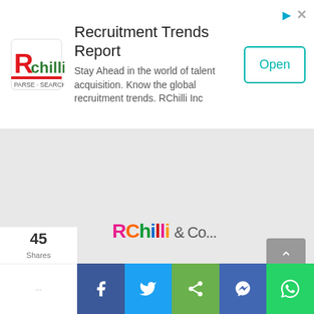[Figure (other): RChilli logo — red and green stylized chilli pepper icon with company name]
Recruitment Trends Report
Stay Ahead in the world of talent acquisition. Know the global recruitment trends. RChilli Inc
Open
[Figure (other): Gray content area placeholder]
[Figure (other): Scroll-to-top button]
45 Shares
[Figure (other): Social share bar with Facebook, Twitter, Share, Messenger, WhatsApp buttons]